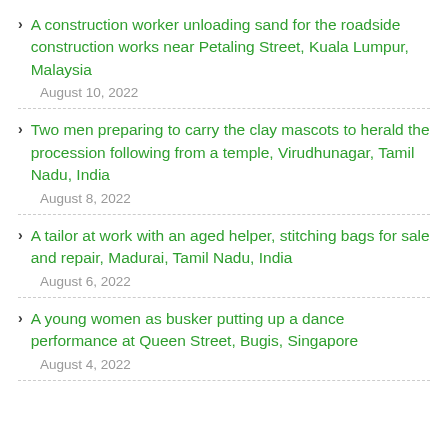A construction worker unloading sand for the roadside construction works near Petaling Street, Kuala Lumpur, Malaysia
August 10, 2022
Two men preparing to carry the clay mascots to herald the procession following from a temple, Virudhunagar, Tamil Nadu, India
August 8, 2022
A tailor at work with an aged helper, stitching bags for sale and repair, Madurai, Tamil Nadu, India
August 6, 2022
A young women as busker putting up a dance performance at Queen Street, Bugis, Singapore
August 4, 2022